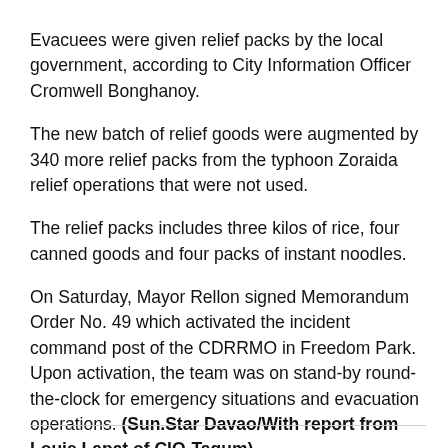Evacuees were given relief packs by the local government, according to City Information Officer Cromwell Bonghanoy.
The new batch of relief goods were augmented by 340 more relief packs from the typhoon Zoraida relief operations that were not used.
The relief packs includes three kilos of rice, four canned goods and four packs of instant noodles.
On Saturday, Mayor Rellon signed Memorandum Order No. 49 which activated the incident command post of the CDRRMO in Freedom Park. Upon activation, the team was on stand-by round-the-clock for emergency situations and evacuation operations. (Sun.Star Davao/With report from Louie Lapat of CIO-Tagum)